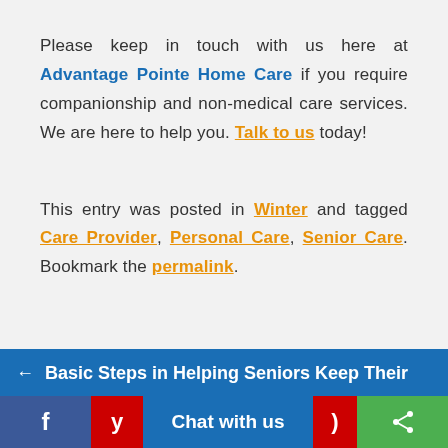Please keep in touch with us here at Advantage Pointe Home Care if you require companionship and non-medical care services. We are here to help you. Talk to us today!
This entry was posted in Winter and tagged Care Provider, Personal Care, Senior Care. Bookmark the permalink.
← Basic Steps in Helping Seniors Keep Their
f | Chat with us | )